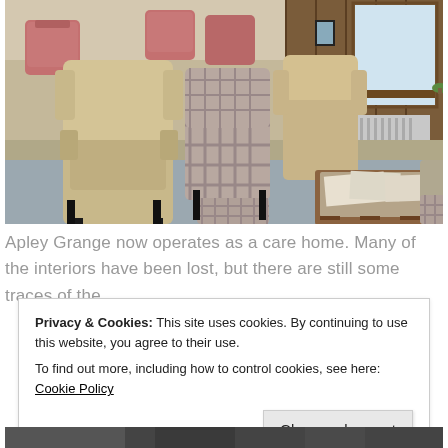[Figure (photo): Interior of Apley Grange care home showing a lounge area with beige wing-back chairs, a plaid armchair with footstool, a long wooden coffee table with magazines and newspapers, and a carpeted floor. Pink chairs and wood-panelled walls visible in background.]
Apley Grange now operates as a care home. Many of the interiors have been lost, but there are still some traces of the
Privacy & Cookies: This site uses cookies. By continuing to use this website, you agree to their use.
To find out more, including how to control cookies, see here: Cookie Policy
Close and accept
[Figure (photo): Partial view of another photo at the bottom of the page, showing a dark scene, possibly a person or architectural detail.]